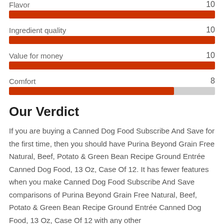[Figure (bar-chart): Ratings]
Our Verdict
If you are buying a Canned Dog Food Subscribe And Save for the first time, then you should have Purina Beyond Grain Free Natural, Beef, Potato & Green Bean Recipe Ground Entrée Canned Dog Food, 13 Oz, Case Of 12. It has fewer features when you make Canned Dog Food Subscribe And Save comparisons of Purina Beyond Grain Free Natural, Beef, Potato & Green Bean Recipe Ground Entrée Canned Dog Food, 13 Oz, Case Of 12 with any other